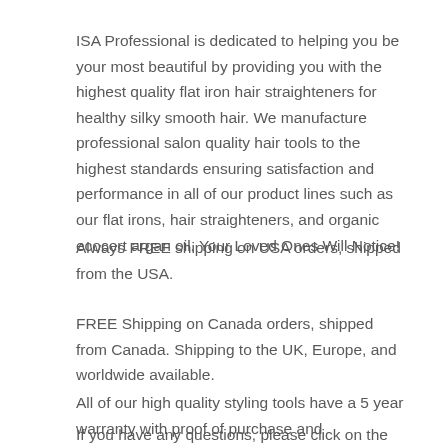ISA Professional is dedicated to helping you be your most beautiful by providing you with the highest quality flat iron hair straighteners for healthy silky smooth hair. We manufacture professional salon quality hair tools to the highest standards ensuring satisfaction and performance in all of our product lines such as our flat irons, hair straighteners, and organic ecocert argan oil. Your Loved Ones Will Notice!
Always FREE shipping on USA orders, shipped from the USA.
FREE Shipping on Canada orders, shipped from Canada. Shipping to the UK, Europe, and worldwide available.
All of our high quality styling tools have a 5 year warranty with proof of purchase and registration.
If you have any questions, please click on the Contact